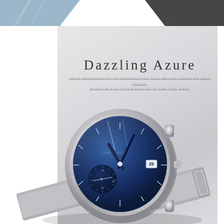[Figure (photo): Top strip showing dark mesh/fabric watch band texture at top corners against white background]
Dazzling Azure
YOUR PERSONALITY INTERPRETATION WILL BE FOLLOWED BY SELF TREND: MAGIC BLACK STYLE REFLECTS THE TIDE GRID
[Figure (photo): Product photo of a minimalist ultra-thin watch with deep blue dial, silver stainless steel case, silver mesh bracelet band, sub-seconds dial, date window, brand name VIP 4 GCC on dial]